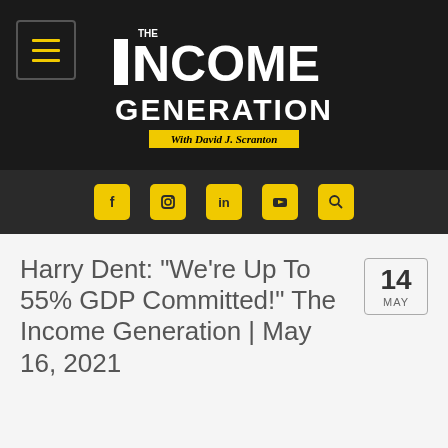[Figure (logo): The Income Generation logo with hamburger menu, black background, yellow tagline 'With David J. Scranton']
[Figure (infographic): Social media icon bar with Facebook, Instagram, LinkedIn, YouTube, and Search icons in yellow on dark background]
Harry Dent: “We’re Up To 55% GDP Committed!” The Income Generation | May 16, 2021
14 MAY
[Figure (photo): Partial photo strip at bottom showing Income Generation logo circle and a person, on blue-grey background]